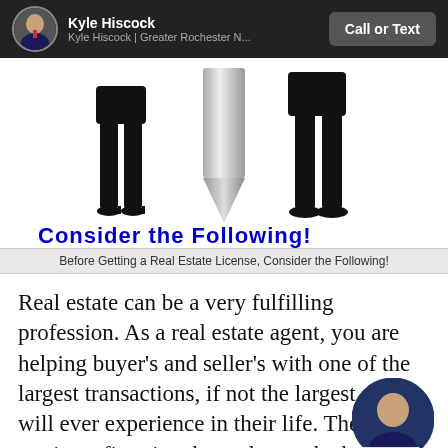Kyle Hiscock | Kyle Hiscock | Greater Rochester N... | Call or Text
[Figure (photo): Two people standing on either side of a silver arrow/spike pointing down, with text overlay 'Consider the Following!' in bold blue font on white background.]
Before Getting a Real Estate License, Consider the Following!
Real estate can be a very fulfilling profession.  As a real estate agent, you are helping buyer’s and seller’s with one of the largest transactions, if not the largest, they will ever experience in their life.  The chance to give a first time home buyer the keys to their home is priceless.  As a real estate agent you are the hero when you bring a seller a full price offer on their